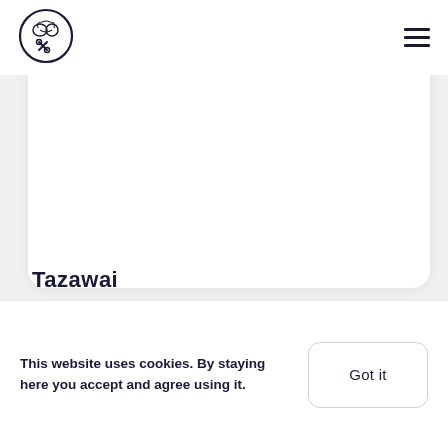[Figure (logo): Circular logo with brain and crossed tools icon in dark navy blue on white background]
Tazawai
This website uses cookies. By staying here you accept and agree using it.
Got it